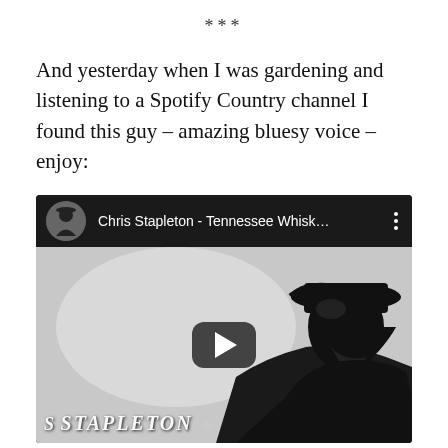***
And yesterday when I was gardening and listening to a Spotify Country channel I found this guy – amazing bluesy voice – enjoy:
[Figure (screenshot): Embedded YouTube video player showing Chris Stapleton - Tennessee Whisk... with a black-and-white thumbnail of a man in a cowboy hat in silhouette, a play button overlay, and the watermark 'S STAPLETON' at the bottom left.]